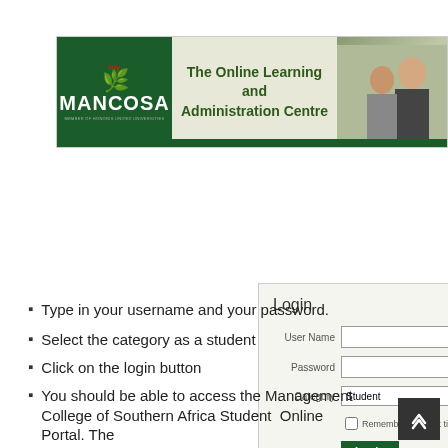[Figure (screenshot): MANCOSA banner showing 'The Online Learning and Administration Centre' with logo on dark green background and people in background]
[Figure (screenshot): Login form with User Name, Password, Category (Student) fields, Remember me next time checkbox, Login button, and Forgot your password link]
Type in your username and your password.
Select the category as a student
Click on the login button
You should be able to access the Management College of Southern Africa Student  Online Portal. The...